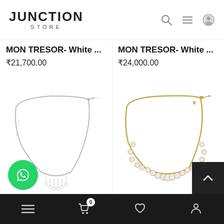JUNCTION STORE
MON TRESOR- White ... ₹21,700.00
MON TRESOR- White ... ₹24,000.00
[Figure (photo): Silver crystal necklace on white background]
[Figure (photo): Gold crystal necklace on white background]
Navigation bar with menu, cart (0), heart, and profile icons